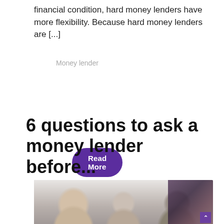financial condition, hard money lenders have more flexibility. Because hard money lenders are [...]
Money lender
Read More
6 questions to ask a money lender before...
[Figure (photo): Three people in a meeting — a woman and a man with their backs partially to camera, facing a bearded man in glasses wearing a suit, apparently in a financial consultation setting.]